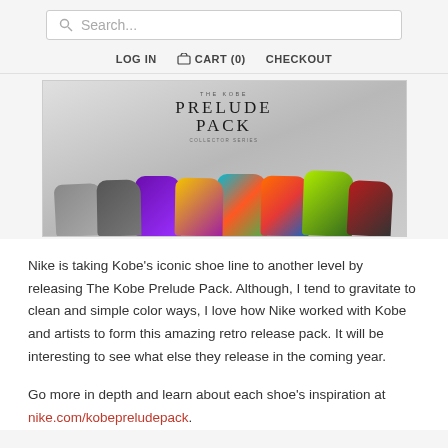Search...
LOG IN   CART (0)   CHECKOUT
[Figure (photo): The Kobe Prelude Pack banner image showing multiple colorful Kobe basketball shoes lined up in a row against a grey background, with text reading 'THE KOBE PRELUDE PACK COLLECTOR SERIES']
Nike is taking Kobe’s iconic shoe line to another level by releasing The Kobe Prelude Pack. Although, I tend to gravitate to clean and simple color ways, I love how Nike worked with Kobe and artists to form this amazing retro release pack. It will be interesting to see what else they release in the coming year.
Go more in depth and learn about each shoe’s inspiration at nike.com/kobepreludepack.